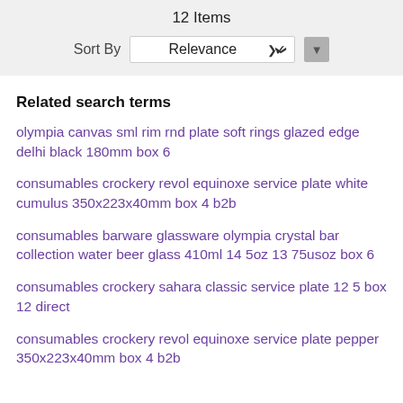12 Items
Sort By   Relevance ▾   ▼
Related search terms
olympia canvas sml rim rnd plate soft rings glazed edge delhi black 180mm box 6
consumables crockery revol equinoxe service plate white cumulus 350x223x40mm box 4 b2b
consumables barware glassware olympia crystal bar collection water beer glass 410ml 14 5oz 13 75usoz box 6
consumables crockery sahara classic service plate 12 5 box 12 direct
consumables crockery revol equinoxe service plate pepper 350x223x40mm box 4 b2b